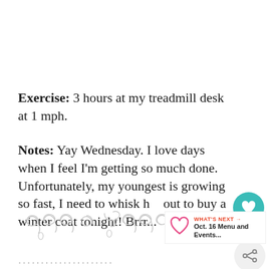Exercise: 3 hours at my treadmill desk at 1 mph.
Notes: Yay Wednesday. I love days when I feel I'm getting so much done. Unfortunately, my youngest is growing so fast, I need to whisk her out to buy a winter coat tonight! Brrr...
[Figure (illustration): Decorative scrollwork / flourish divider in gray ink style]